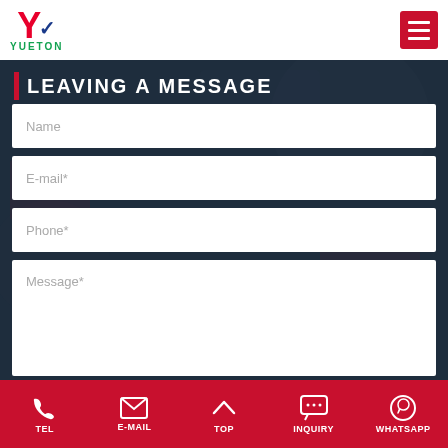YUETON
LEAVING A MESSAGE
Name
E-mail*
Phone*
Message*
TEL  E-MAIL  TOP  INQUIRY  WHATSAPP